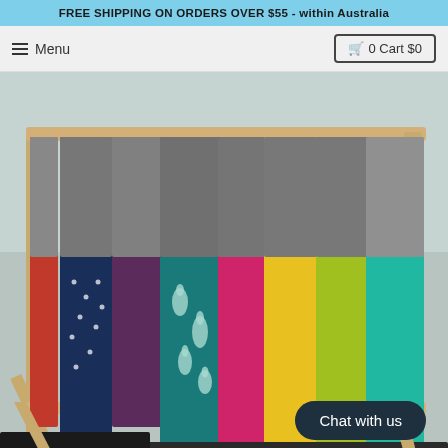FREE SHIPPING ON ORDERS OVER $55 - within Australia
Menu | 0 Cart $0
[Figure (photo): A wooden clothing rack displaying multiple tote bags with grey tops and colorful bottoms including navy blue with white dots, teal with llama print, pink/hot pink, yellow, lime green, and turquoise/teal. The bags are hanging outdoors at what appears to be a market stall.]
Chat with us